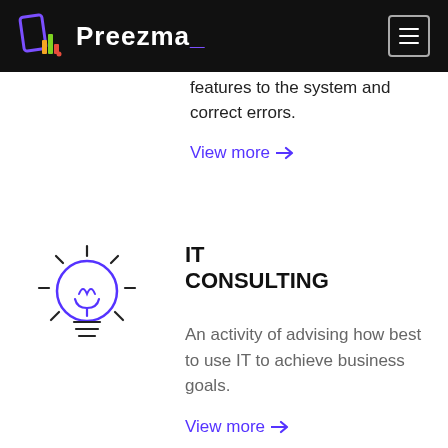Preezma
features to the system and correct errors.
View more →
[Figure (illustration): Light bulb icon with rays radiating outward, drawn in purple/dark outline style]
IT CONSULTING
An activity of advising how best to use IT to achieve business goals.
View more →